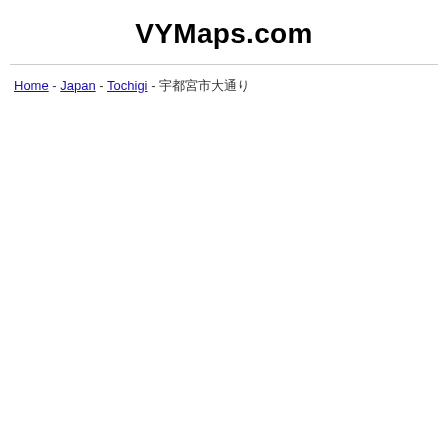VYMaps.com
Home - Japan - Tochigi - 宇都宮市大通り